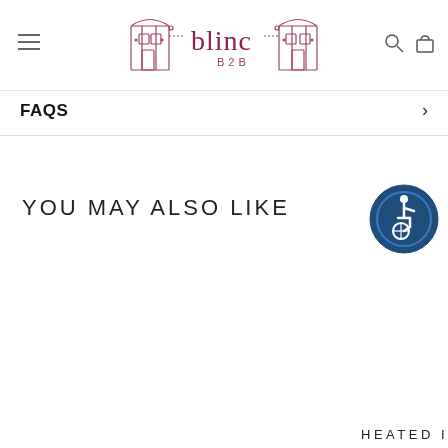[Figure (logo): Blinc B2B logo with illustrated building/storefront icons in rose/pink color, with the text 'blinc B2B' in stylized font]
FAQS
YOU MAY ALSO LIKE
[Figure (illustration): Accessibility icon - person in wheelchair inside a dark blue circle with a lighter inner circle outline]
HEATED I